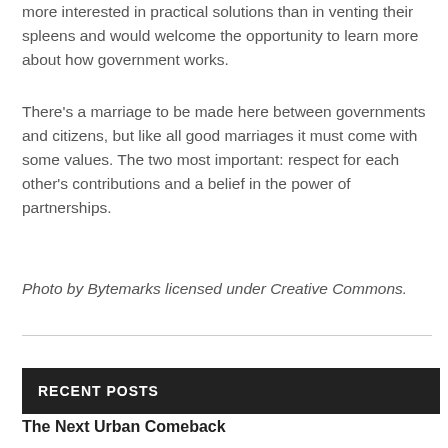more interested in practical solutions than in venting their spleens and would welcome the opportunity to learn more about how government works.
There's a marriage to be made here between governments and citizens, but like all good marriages it must come with some values. The two most important: respect for each other's contributions and a belief in the power of partnerships.
Photo by Bytemarks licensed under Creative Commons.
RECENT POSTS
The Next Urban Comeback